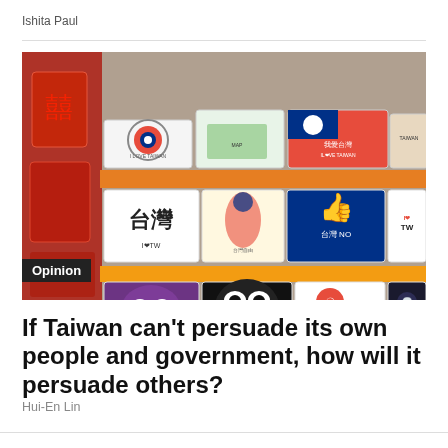Ishita Paul
[Figure (photo): Display rack of Taiwan-themed souvenirs and stickers including 'I Love Taiwan', 'I TW', Chinese text stickers, flags, cartoon face magnets, and animated character designs. Orange packaging frames the souvenir cards. An 'Opinion' label is overlaid in the bottom-left corner.]
If Taiwan can't persuade its own people and government, how will it persuade others?
Hui-En Lin